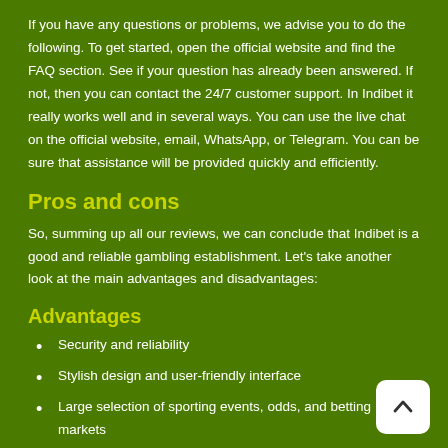If you have any questions or problems, we advise you to do the following. To get started, open the official website and find the FAQ section. See if your question has already been answered. If not, then you can contact the 24/7 customer support. In Indibet it really works well and in several ways. You can use the live chat on the official website, email, WhatsApp, or Telegram. You can be sure that assistance will be provided quickly and efficiently.
Pros and cons
So, summing up all our reviews, we can conclude that Indibet is a good and reliable gambling establishment. Let's take another look at the main advantages and disadvantages:
Advantages
Security and reliability
Stylish design and user-friendly interface
Large selection of sporting events, odds, and betting markets